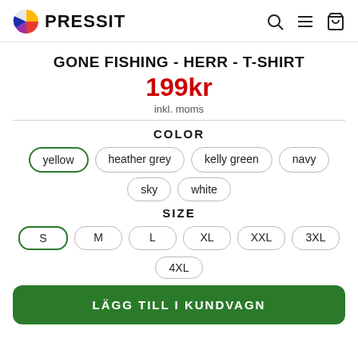PRESSIT (logo with navigation icons)
GONE FISHING - HERR - T-SHIRT
199kr
inkl. moms
COLOR
yellow (selected)
heather grey
kelly green
navy
sky
white
SIZE
S (selected)
M
L
XL
XXL
3XL
4XL
LÄGG TILL I KUNDVAGN